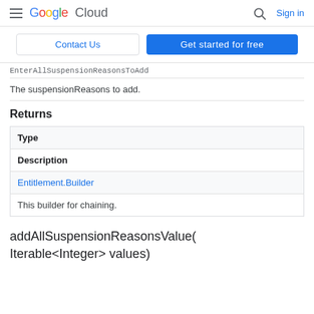Google Cloud  Sign in
Contact Us  Get started for free
EnterAllSuspensionReasonsToAdd
The suspensionReasons to add.
Returns
| Type | Description |
| --- | --- |
| Entitlement.Builder | This builder for chaining. |
addAllSuspensionReasonsValue(Iterable<Integer> values)